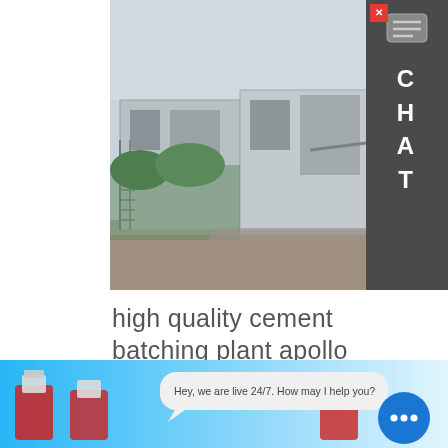[Figure (photo): Photograph of a cement/concrete batching plant facility showing industrial equipment, silos, conveyor structures, scaffolding, and surrounding trees under an overcast sky]
high quality cement batching plant apollo
Concrete Batching Plant Suppliers for Output 75 cubic meters per hour. Description of HZS75 Concrete Batching Plant1.HZS75 series concrete batching plant belongs to compulsory and efficiency equipment it can produce various kinds of concrete including quaking concrete and hard concrete with
Learn More
[Figure (photo): Bottom portion of a webpage showing a live chat widget with the message 'Hey, we are live 24/7. How may I help you?' and a blue chat button with three dots, against a light blue background with industrial product imagery]